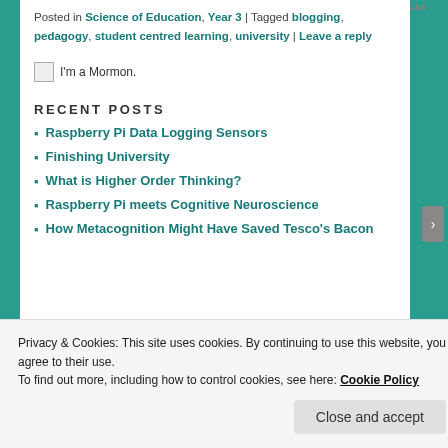Posted in Science of Education, Year 3 | Tagged blogging, pedagogy, student centred learning, university | Leave a reply
[Figure (illustration): Small image placeholder with text "I'm a Mormon."]
RECENT POSTS
Raspberry Pi Data Logging Sensors
Finishing University
What is Higher Order Thinking?
Raspberry Pi meets Cognitive Neuroscience
How Metacognition Might Have Saved Tesco's Bacon
Privacy & Cookies: This site uses cookies. By continuing to use this website, you agree to their use. To find out more, including how to control cookies, see here: Cookie Policy
Close and accept